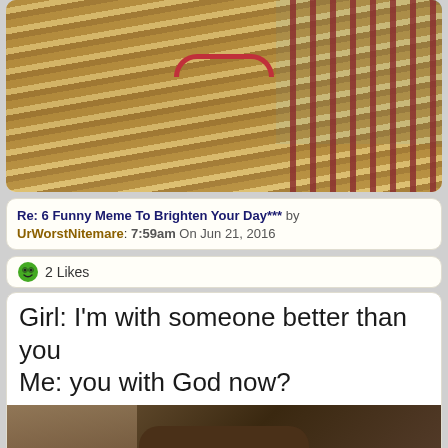[Figure (photo): Photo of a person wearing a striped shirt and red necklace, standing in front of a blue wall with red bars]
Re: 6 Funny Meme To Brighten Your Day*** by UrWorstNitemare: 7:59am On Jun 21, 2016
2 Likes
[Figure (photo): Meme image with text 'Girl: I'm with someone better than you / Me: you with God now?' above a photo of a person wearing a wide-brimmed hat]